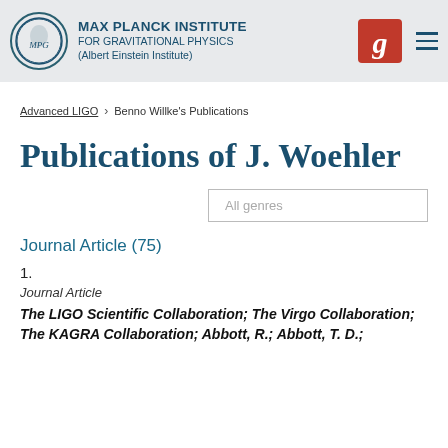MAX PLANCK INSTITUTE FOR GRAVITATIONAL PHYSICS (Albert Einstein Institute)
Advanced LIGO > Benno Willke's Publications
Publications of J. Woehler
All genres
Journal Article (75)
1.
Journal Article
The LIGO Scientific Collaboration; The Virgo Collaboration; The KAGRA Collaboration; Abbott, R.; Abbott, T. D.;